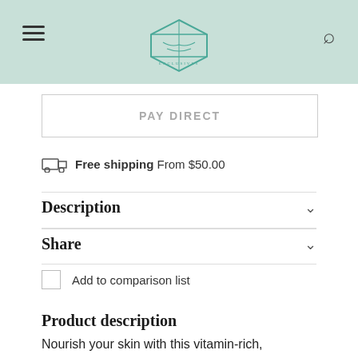Exclusives brand logo header with hamburger menu and search icon
PAY DIRECT
Free shipping From $50.00
Description
Share
Add to comparison list
Product description
Nourish your skin with this vitamin-rich,